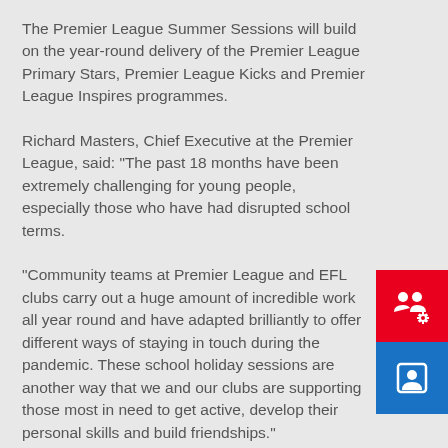The Premier League Summer Sessions will build on the year-round delivery of the Premier League Primary Stars, Premier League Kicks and Premier League Inspires programmes.
Richard Masters, Chief Executive at the Premier League, said: "The past 18 months have been extremely challenging for young people, especially those who have had disrupted school terms.
"Community teams at Premier League and EFL clubs carry out a huge amount of incredible work all year round and have adapted brilliantly to offer different ways of staying in touch during the pandemic. These school holiday sessions are another way that we and our clubs are supporting those most in need to get active, develop their personal skills and build friendships."
Premier League Primary Stars activity will inspire children to learn. This will complement what they have been taught
[Figure (illustration): Red square icon with white group/settings icon (people with gear symbol)]
[Figure (illustration): Blue square icon with white person/contact icon]